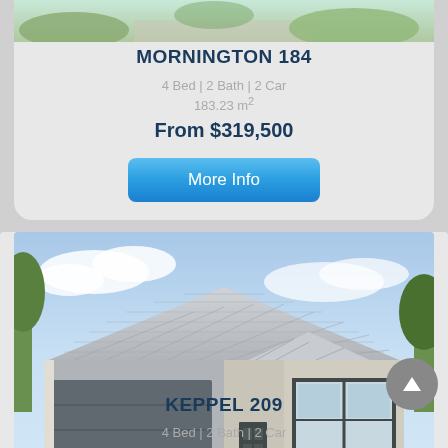[Figure (photo): Top portion of a house exterior photo, showing greenery and driveway — partially visible at top of page]
MORNINGTON 184
4 Bed | 2 Bath | 2 Car
183.23 m²
From $319,500
More Info
[Figure (photo): Front elevation rendering of the Keppel 209 house design — single-storey home with large garage, gabled roof, landscaped front yard]
KEPPEL 209
4 Bed | 2 Bath | 2 Car